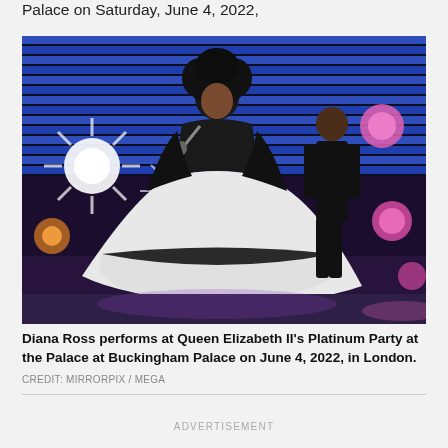Palace on Saturday, June 4, 2022,
[Figure (photo): Diana Ross performs on stage at Queen Elizabeth II's Platinum Party at the Palace at Buckingham Palace, wearing a dramatic black and white ball gown and holding a microphone, with a male performer in black standing behind her. The background shows blue horizontal stage lights and colorful spotlights.]
Diana Ross performs at Queen Elizabeth II's Platinum Party at the Palace at Buckingham Palace on June 4, 2022, in London.
CREDIT: MIRRORPIX / MEGA
ADVERTISEMENT